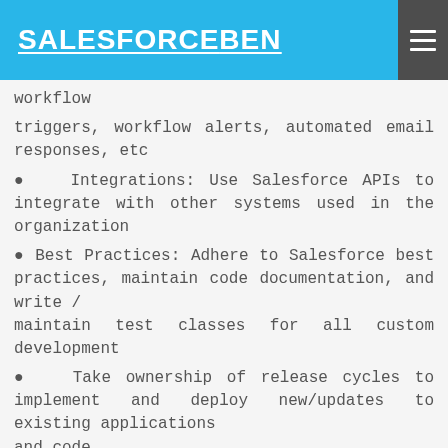SALESFORCEBEN
workflow
triggers, workflow alerts, automated email responses, etc
Integrations: Use Salesforce APIs to integrate with other systems used in the organization
Best Practices: Adhere to Salesforce best practices, maintain code documentation, and write / maintain test classes for all custom development
Take ownership of release cycles to implement and deploy new/updates to existing applications and code
System Integrity Ownership: Responsible